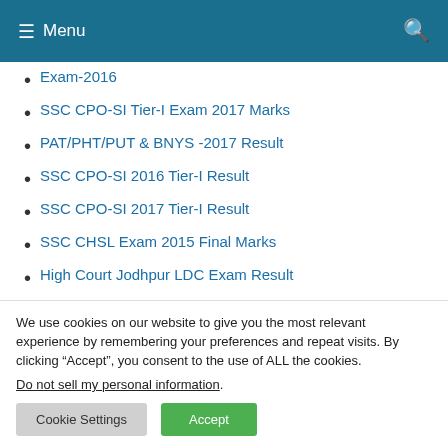Menu
Exam-2016
SSC CPO-SI Tier-I Exam 2017 Marks
PAT/PHT/PUT & BNYS -2017 Result
SSC CPO-SI 2016 Tier-I Result
SSC CPO-SI 2017 Tier-I Result
SSC CHSL Exam 2015 Final Marks
High Court Jodhpur LDC Exam Result
JMRC CRA Written Test Results
We use cookies on our website to give you the most relevant experience by remembering your preferences and repeat visits. By clicking “Accept”, you consent to the use of ALL the cookies.
Do not sell my personal information.